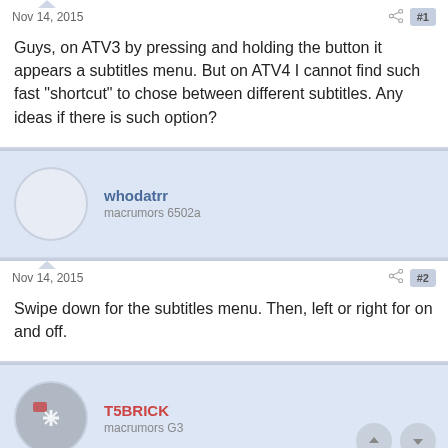Nov 14, 2015
Guys, on ATV3 by pressing and holding the button it appears a subtitles menu. But on ATV4 I cannot find such fast "shortcut" to chose between different subtitles. Any ideas if there is such option?
whodatrr
macrumors 6502a
Nov 14, 2015
Swipe down for the subtitles menu. Then, left or right for on and off.
T5BRICK
macrumors G3